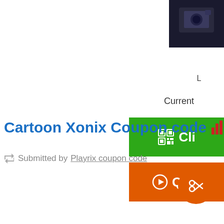[Figure (photo): Partial product image (camera/device) visible in top-right corner, dark background]
L
Current
[Figure (other): Green button with QR icon and 'Cli...' text (Click to Reveal)]
[Figure (other): Orange button with play/arrow icon and 'Quic...' text (Quick View)]
Cartoon Xonix Coupon code (Now, 53
Submitted by Playrix coupon code
[Figure (other): Orange circular FAB button with scissors icon at bottom right]